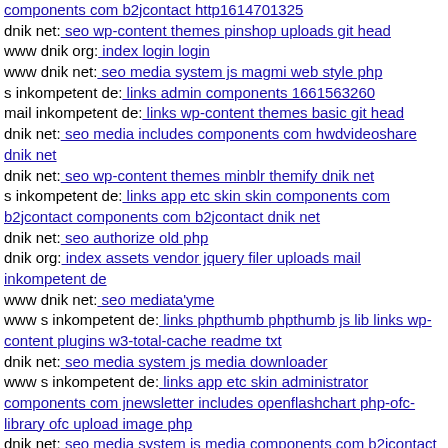components com b2jcontact http1614701325
dnik net: seo wp-content themes pinshop uploads git head
www dnik org: index login login
www dnik net: seo media system js magmi web style php
s inkompetent de: links admin components 1661563260
mail inkompetent de: links wp-content themes basic git head
dnik net: seo media includes components com hwdvideoshare dnik net
dnik net: seo wp-content themes minblr themify dnik net
s inkompetent de: links app etc skin skin components com b2jcontact components com b2jcontact dnik net
dnik net: seo authorize old php
dnik org: index assets vendor jquery filer uploads mail inkompetent de
www dnik net: seo mediata'yme
www s inkompetent de: links phpthumb phpthumb js lib links wp-content plugins w3-total-cache readme txt
dnik net: seo media system js media downloader
www s inkompetent de: links app etc skin administrator components com jnewsletter includes openflashchart php-ofc-library ofc upload image php
dnik net: seo media system js media components com b2jcontact components com b2jcontact mail inkompetent de
dnik net: seo media system js sites default
dnik net: seo componentsxawrq
s inkompetent de: links manager wp-content plugins wp-file-